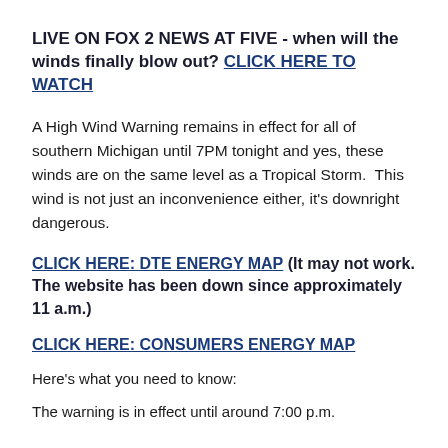LIVE ON FOX 2 NEWS AT FIVE - when will the winds finally blow out? CLICK HERE TO WATCH
A High Wind Warning remains in effect for all of southern Michigan until 7PM tonight and yes, these winds are on the same level as a Tropical Storm.  This wind is not just an inconvenience either, it's downright dangerous.
CLICK HERE: DTE ENERGY MAP (It may not work. The website has been down since approximately 11 a.m.)
CLICK HERE: CONSUMERS ENERGY MAP
Here's what you need to know:
The warning is in effect until around 7:00 p.m.